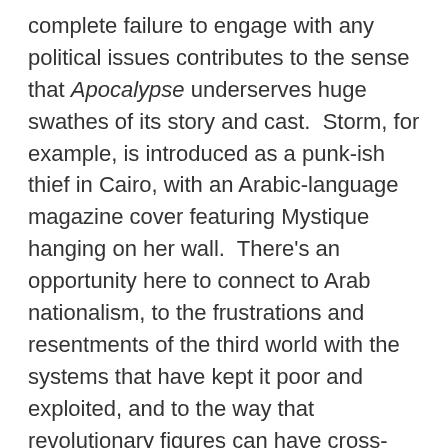complete failure to engage with any political issues contributes to the sense that Apocalypse underserves huge swathes of its story and cast.  Storm, for example, is introduced as a punk-ish thief in Cairo, with an Arabic-language magazine cover featuring Mystique hanging on her wall.  There's an opportunity here to connect to Arab nationalism, to the frustrations and resentments of the third world with the systems that have kept it poor and exploited, and to the way that revolutionary figures can have cross-cultural appeal.  But the film's neglect of Storm after these opening scenes means that any chance at a political subtext is lost.

This is particularly unfortunate because Storm is one of only three people of color in this movie (the